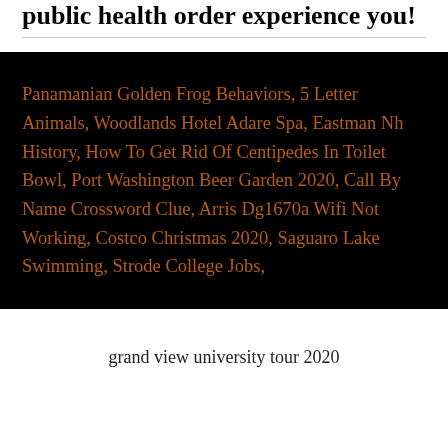public health order experience you!
Panamanian Golden Frog Behaviors, 5 Letter Animals, Woodlands Hotel Adare Spa, Eastman Nh History, How To Get Rid Of Centipedes In Toilet Bowl, Port Washington Beer Garden 2020, Call By Name Crossword Clue, Arris Dg1670a Wifi Not Working, Costco Christmas 2020, Saguaro Lake Swimming, Strode College Jobs,
grand view university tour 2020